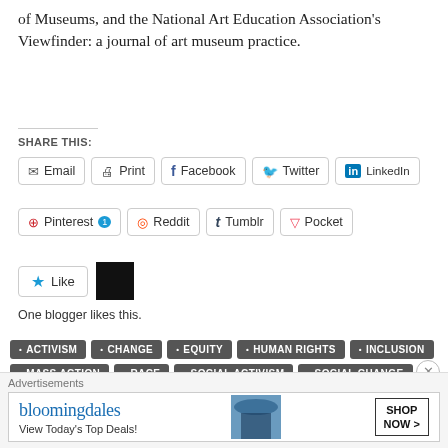of Museums, and the National Art Education Association's Viewfinder: a journal of art museum practice.
SHARE THIS:
Email | Print | Facebook | Twitter | LinkedIn | Pinterest 1 | Reddit | Tumblr | Pocket
Like — One blogger likes this.
ACTIVISM
CHANGE
EQUITY
HUMAN RIGHTS
INCLUSION
MASS ACTION
RACE
SOCIAL ACTIVISM
SOCIAL CHANGE
SOCIAL ISSUES
SOCIAL JUSTICE
[Figure (other): Bloomingdale's advertisement banner: 'View Today's Top Deals! SHOP NOW >']